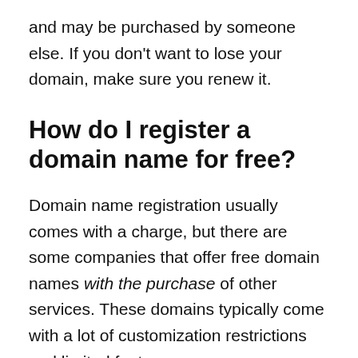and may be purchased by someone else. If you don't want to lose your domain, make sure you renew it.
How do I register a domain name for free?
Domain name registration usually comes with a charge, but there are some companies that offer free domain names with the purchase of other services. These domains typically come with a lot of customization restrictions and limited features.